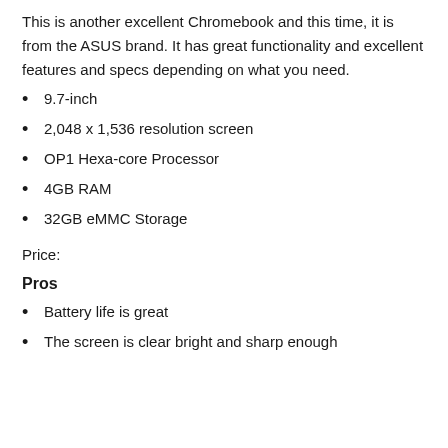This is another excellent Chromebook and this time, it is from the ASUS brand. It has great functionality and excellent features and specs depending on what you need.
9.7-inch
2,048 x 1,536 resolution screen
OP1 Hexa-core Processor
4GB RAM
32GB eMMC Storage
Price:
Pros
Battery life is great
The screen is clear bright and sharp enough